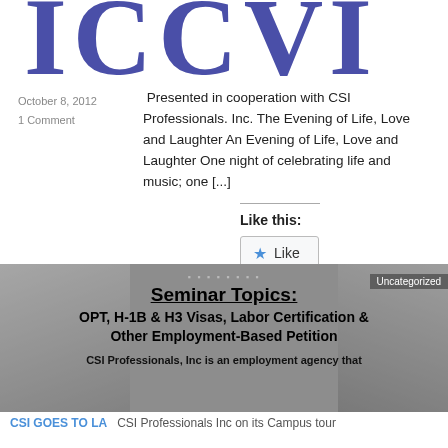ICCVI
October 8, 2012
1 Comment
Presented in cooperation with CSI Professionals. Inc. The Evening of Life, Love and Laughter An Evening of Life, Love and Laughter One night of celebrating life and music; one [...]
Like this:
Like
Be the first to like this.
[Figure (photo): Photo of people at a seminar event, used as background for seminar topics announcement]
Seminar Topics:
OPT, H-1B & H3 Visas, Labor Certification & Other Employment-Based Petition
CSI Professionals, Inc is an employment agency that
CSI GOES TO LA
CSI Professionals Inc on its Campus tour